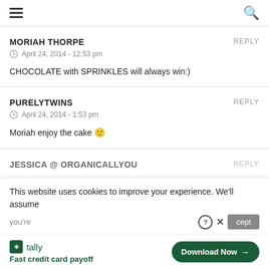Navigation menu and search icon
MORIAH THORPE
April 24, 2014 - 12:53 pm
CHOCOLATE with SPRINKLES will always win:)
PURELYTWINS
April 24, 2014 - 1:53 pm
Moriah enjoy the cake 🙂
JESSICA @ ORGANICALLYOU
REPLY
This website uses cookies to improve your experience. We'll assume you're
[Figure (infographic): Tally advertisement banner: Fast credit card payoff with Download Now button]